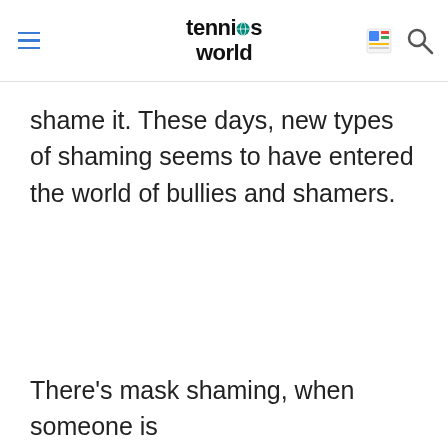tennis world
shame it. These days, new types of shaming seems to have entered the world of bullies and shamers.
There's mask shaming, when someone is